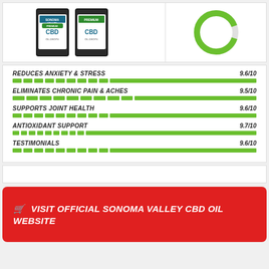[Figure (photo): Sonoma Valley Premium CBD Oil Drops product bottles]
[Figure (donut-chart): Green circular rating donut chart, partially complete]
REDUCES ANXIETY & STRESS 9.6/10
ELIMINATES CHRONIC PAIN & ACHES 9.5/10
SUPPORTS JOINT HEALTH 9.6/10
ANTIOXIDANT SUPPORT 9.7/10
TESTIMONIALS 9.6/10
VISIT OFFICIAL SONOMA VALLEY CBD OIL WEBSITE